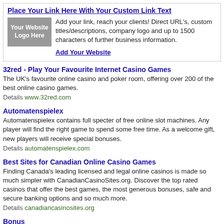Place Your Link Here With Your Custom Link Text
[Figure (logo): Grey placeholder box with text 'Your Website Logo Here']
Add your link, reach your clients! Direct URL's, custom titles/descriptions, company logo and up to 1500 characters of further business information.
Add Your Website
32red - Play Your Favourite Internet Casino Games
The UK's favourite online casino and poker room, offering over 200 of the best online casino games.
Details www.32red.com
Automatenspielex
Automatenspielex contains full specter of free online slot machines. Any player will find the right game to spend some free time. As a welcome gift, new players will receive special bonuses.
Details automatenspielex.com
Best Sites for Canadian Online Casino Games
Finding Canada's leading licensed and legal online casinos is made so much simpler with CanadianCasinoSites.org. Discover the top rated casinos that offer the best games, the most generous bonuses, safe and secure banking options and so much more.
Details canadiancasinosites.org
Bonus
Online casino directory with complete multilangual reviews, free casino games, bonus codes, games rules and strategies to boost your winnings. Play your favorite casino games including poker, slots, blackjack, roulette, keno.
Details www.bonus.to
Borgata Hotel Casino & Spa